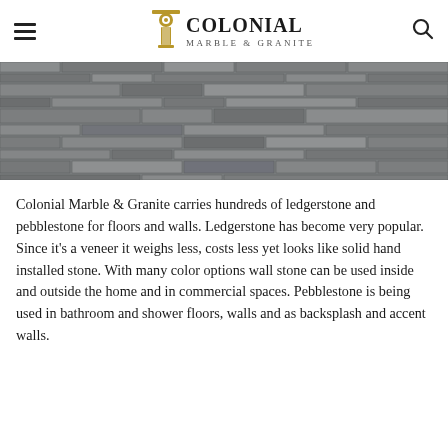Colonial Marble & Granite
[Figure (photo): Close-up photo of a gray stacked ledgerstone / slate wall panel texture, horizontal bands of thin stone in varying shades of gray.]
Colonial Marble & Granite carries hundreds of ledgerstone and pebblestone for floors and walls. Ledgerstone has become very popular. Since it's a veneer it weighs less, costs less yet looks like solid hand installed stone. With many color options wall stone can be used inside and outside the home and in commercial spaces. Pebblestone is being used in bathroom and shower floors, walls and as backsplash and accent walls.